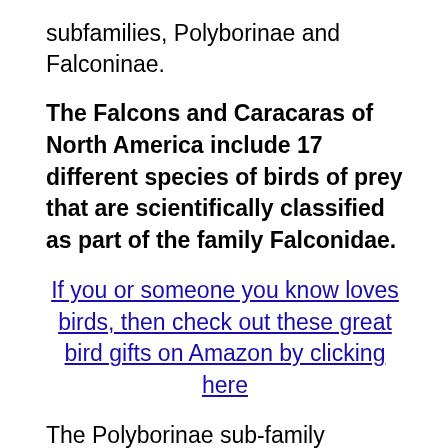subfamilies, Polyborinae and Falconinae.
The Falcons and Caracaras of North America include 17 different species of birds of prey that are scientifically classified as part of the family Falconidae.
If you or someone you know loves birds, then check out these great bird gifts on Amazon by clicking here
The Polyborinae sub-family includes what is commonly known as Caracaras and Forest Falcons, whose territory mainly ranges from